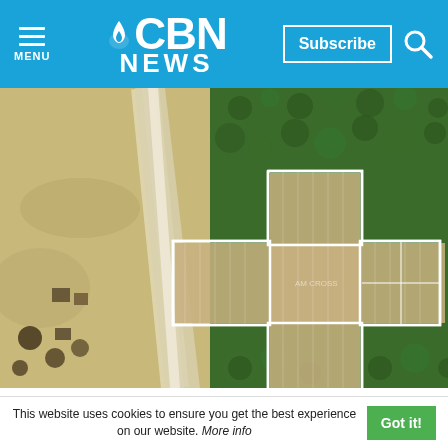CBN NEWS
[Figure (photo): Aerial satellite view of a large cross-shaped structure outlined in white over a landscape with sandy/rocky terrain on the left and green forested area on the right, with a road visible.]
NJ Religious Group Accused of 'Christian Bullying' for
This website uses cookies to ensure you get the best experience on our website. More info